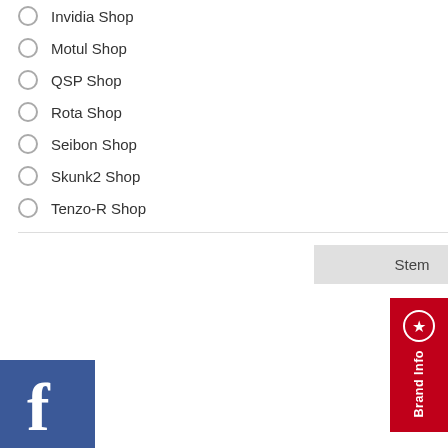Invidia Shop
Motul Shop
QSP Shop
Rota Shop
Seibon Shop
Skunk2 Shop
Tenzo-R Shop
Stem
[Figure (logo): Facebook logo blue square with white F]
€ 169,00
In winkelwagen
[Figure (photo): Car trunk interior showing strut bar installation for VW Golf]
VW Golf 4 97-06 UltraRacing 2-Point Rear Upper Strutbar 1270
€ 117,50
In winkelwagen
Brand Info